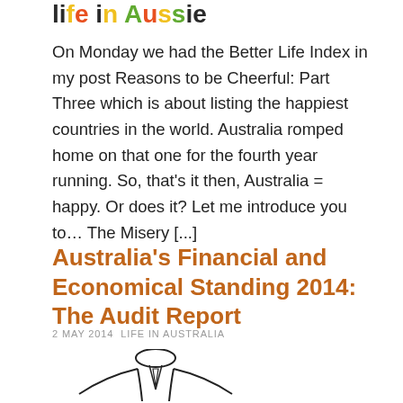[Figure (logo): Colorful logo/masthead text at top of page with stylized multi-colored letters]
On Monday we had the Better Life Index in my post Reasons to be Cheerful: Part Three which is about listing the happiest countries in the world. Australia romped home on that one for the fourth year running. So, that's it then, Australia = happy. Or does it? Let me introduce you to… The Misery [...]
Australia's Financial and Economical Standing 2014: The Audit Report
2 MAY 2014 LIFE IN AUSTRALIA
[Figure (illustration): Black and white line drawing of a person in a suit with arms outstretched, partially visible at bottom of page]